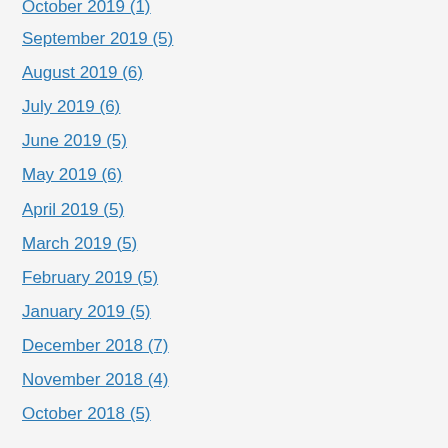October 2019 (1)
September 2019 (5)
August 2019 (6)
July 2019 (6)
June 2019 (5)
May 2019 (6)
April 2019 (5)
March 2019 (5)
February 2019 (5)
January 2019 (5)
December 2018 (7)
November 2018 (4)
October 2018 (5)